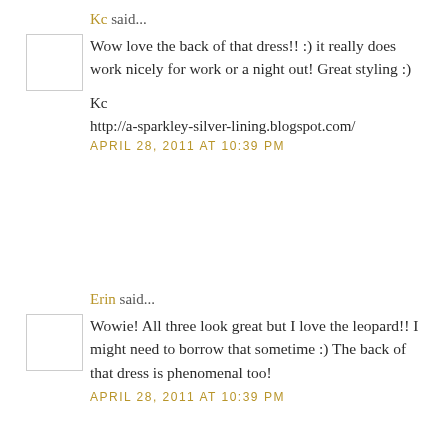Kc said...
Wow love the back of that dress!! :) it really does work nicely for work or a night out! Great styling :)
Kc
http://a-sparkley-silver-lining.blogspot.com/
APRIL 28, 2011 AT 10:39 PM
Erin said...
Wowie! All three look great but I love the leopard!! I might need to borrow that sometime :) The back of that dress is phenomenal too!
APRIL 28, 2011 AT 10:39 PM